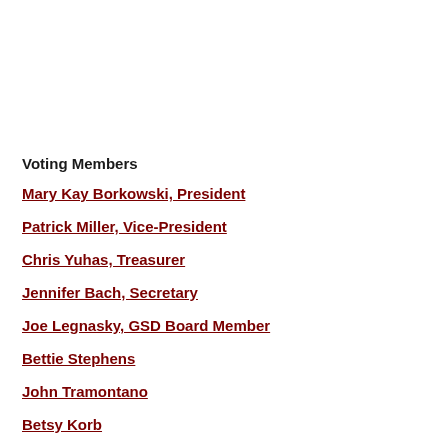Voting Members
Mary Kay Borkowski, President
Patrick Miller, Vice-President
Chris Yuhas, Treasurer
Jennifer Bach, Secretary
Joe Legnasky, GSD Board Member
Bettie Stephens
John Tramontano
Betsy Korb
Jeanne Miller
Kristine Petter